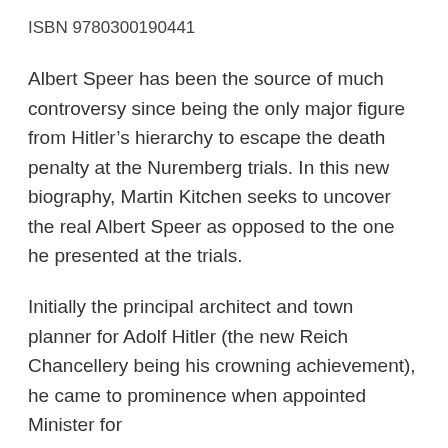ISBN 9780300190441
Albert Speer has been the source of much controversy since being the only major figure from Hitler’s hierarchy to escape the death penalty at the Nuremberg trials. In this new biography, Martin Kitchen seeks to uncover the real Albert Speer as opposed to the one he presented at the trials.
Initially the principal architect and town planner for Adolf Hitler (the new Reich Chancellery being his crowning achievement), he came to prominence when appointed Minister for